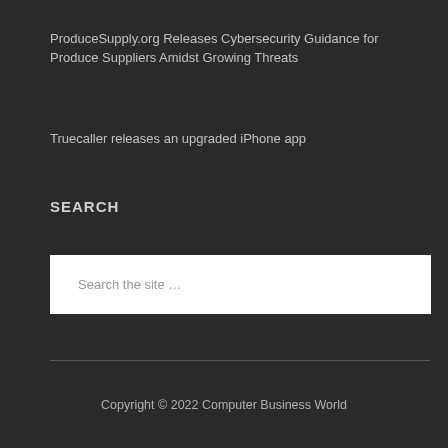ProduceSupply.org Releases Cybersecurity Guidance for Produce Suppliers Amidst Growing Threats
Truecaller releases an upgraded iPhone app
SEARCH
Search the site …
Copyright © 2022 Computer Business World